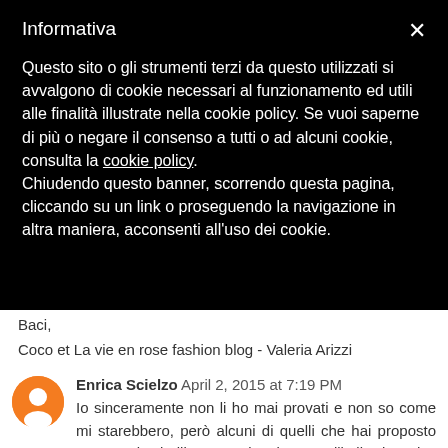Informativa
Questo sito o gli strumenti terzi da questo utilizzati si avvalgono di cookie necessari al funzionamento ed utili alle finalità illustrate nella cookie policy. Se vuoi saperne di più o negare il consenso a tutti o ad alcuni cookie, consulta la cookie policy.
Chiudendo questo banner, scorrendo questa pagina, cliccando su un link o proseguendo la navigazione in altra maniera, acconsenti all'uso dei cookie.
Baci,
Coco et La vie en rose fashion blog - Valeria Arizzi
Reply
Enrica Scielzo  April 2, 2015 at 7:19 PM
Io sinceramente non li ho mai provati e non so come mi starebbero, però alcuni di quelli che hai proposto sono molto belli! Tra tutti, adoro quelli di Givenchy, Tabitha Simmons e